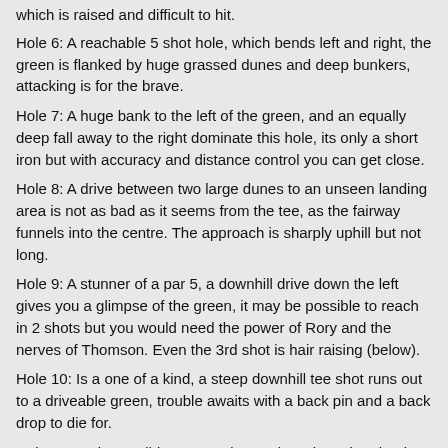which is raised and difficult to hit.
Hole 6: A reachable 5 shot hole, which bends left and right, the green is flanked by huge grassed dunes and deep bunkers, attacking is for the brave.
Hole 7: A huge bank to the left of the green, and an equally deep fall away to the right dominate this hole, its only a short iron but with accuracy and distance control you can get close.
Hole 8: A drive between two large dunes to an unseen landing area is not as bad as it seems from the tee, as the fairway funnels into the centre. The approach is sharply uphill but not long.
Hole 9: A stunner of a par 5, a downhill drive down the left gives you a glimpse of the green, it may be possible to reach in 2 shots but you would need the power of Rory and the nerves of Thomson. Even the 3rd shot is hair raising (below).
Hole 10: Is a one of a kind, a steep downhill tee shot runs out to a driveable green, trouble awaits with a back pin and a back drop to die for.
Hole 11: An impossibly pretty 3, just a short drop shot, but its hard to keep your mind on the task with scenery like this (below).